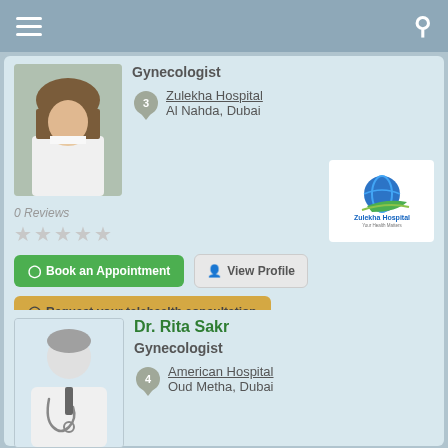Navigation bar with menu and search icons
[Figure (screenshot): Doctor listing card 1: Gynecologist at Zulekha Hospital, Al Nahda, Dubai. 0 Reviews, 5 empty stars. Buttons: Book an Appointment, View Profile, Request your telehealth consultation. Zulekha Hospital logo shown.]
Gynecologist
3  Zulekha Hospital
Al Nahda, Dubai
0 Reviews
★★★★★
Book an Appointment
View Profile
Request your telehealth consultation
Dr. Rita Sakr
Gynecologist
4  American Hospital
Oud Metha, Dubai